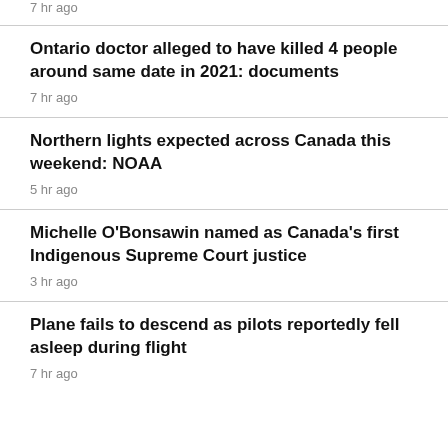7 hr ago
Ontario doctor alleged to have killed 4 people around same date in 2021: documents
7 hr ago
Northern lights expected across Canada this weekend: NOAA
5 hr ago
Michelle O'Bonsawin named as Canada's first Indigenous Supreme Court justice
3 hr ago
Plane fails to descend as pilots reportedly fell asleep during flight
7 hr ago